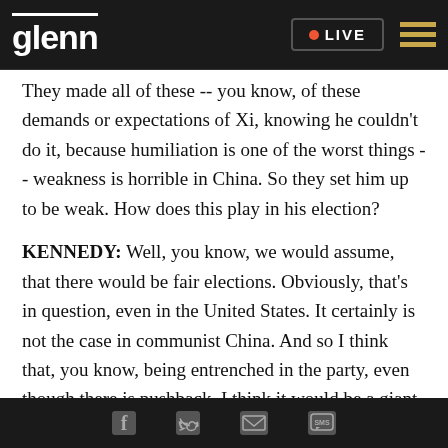glenn | LIVE
They made all of these -- you know, of these demands or expectations of Xi, knowing he couldn't do it, because humiliation is one of the worst things -- weakness is horrible in China. So they set him up to be weak. How does this play in his election?
KENNEDY: Well, you know, we would assume, that there would be fair elections. Obviously, that's in question, even in the United States. It certainly is not the case in communist China. And so I think that, you know, being entrenched in the party, even though there is pushback. I think it would be a giant
Social share icons: Facebook, Twitter, Email, SMS